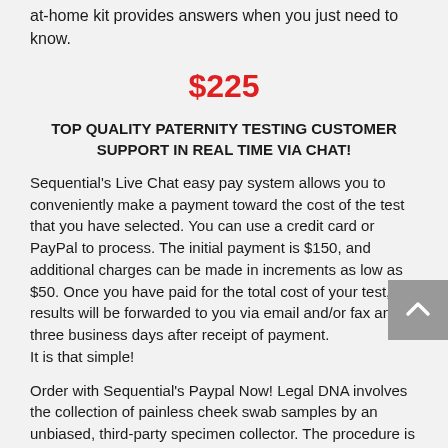at-home kit provides answers when you just need to know.
$225
TOP QUALITY PATERNITY TESTING CUSTOMER SUPPORT IN REAL TIME VIA CHAT!
Sequential's Live Chat easy pay system allows you to conveniently make a payment toward the cost of the test that you have selected. You can use a credit card or PayPal to process. The initial payment is $150, and additional charges can be made in increments as low as $50. Once you have paid for the total cost of your test, results will be forwarded to you via email and/or fax and in three business days after receipt of payment.
It is that simple!
Order with Sequential's Paypal Now! Legal DNA involves the collection of painless cheek swab samples by an unbiased, third-party specimen collector. The procedure is done...